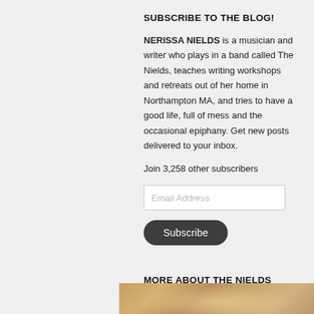SUBSCRIBE TO THE BLOG!
NERISSA NIELDS is a musician and writer who plays in a band called The Nields, teaches writing workshops and retreats out of her home in Northampton MA, and tries to have a good life, full of mess and the occasional epiphany. Get new posts delivered to your inbox.
Join 3,258 other subscribers
Email Address
Subscribe
MORE ABOUT THE NIELDS
[Figure (photo): Partial view of a photo strip showing people, warm colored tones]